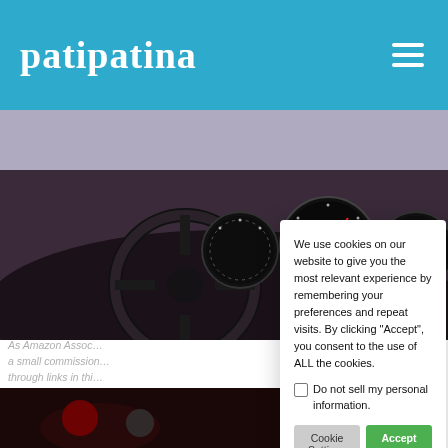patipatina
[Figure (photo): Close-up interior photo of a classic car dashboard with steering wheel and instrument gauges]
As Amazon Assoc… a small commission… through links in thi…
[Figure (photo): Car engine or mechanical detail at bottom left]
We use cookies on our website to give you the most relevant experience by remembering your preferences and repeat visits. By clicking "Accept", you consent to the use of ALL the cookies.
Do not sell my personal information.